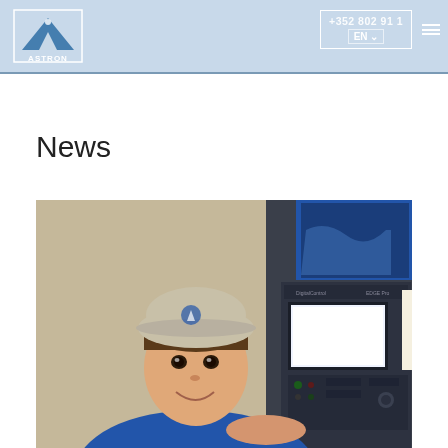ASTRON | +352 802 91 1 | EN
News
[Figure (photo): Young man wearing a hard hat and blue work uniform smiling in front of an industrial CNC machine control panel with a bright screen display, in a factory setting.]